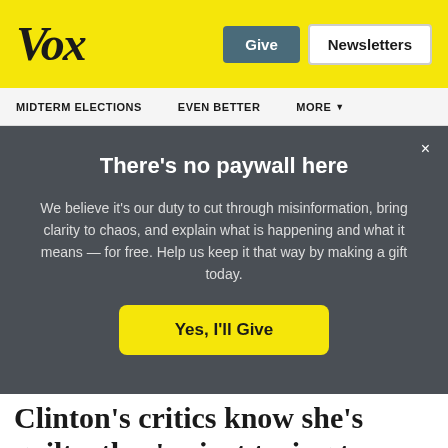Vox
Give   Newsletters
MIDTERM ELECTIONS   EVEN BETTER   MORE
There’s no paywall here
We believe it’s our duty to cut through misinformation, bring clarity to chaos, and explain what is happening and what it means — for free. Help us keep it that way by making a gift today.
Yes, I’ll Give
Clinton’s critics know she’s guilty, they’re just trying to